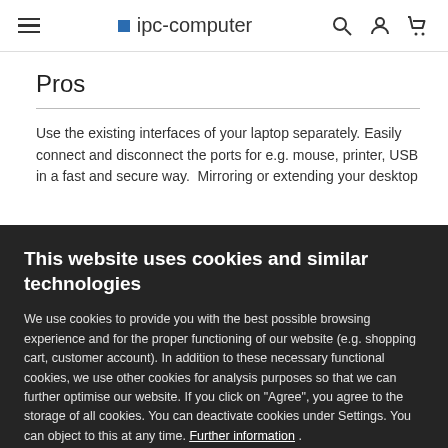ipc-computer
Pros
Use the existing interfaces of your laptop separately. Easily connect and disconnect the ports for e.g. mouse, printer, USB in a fast and secure way. Mirroring or extending your desktop
This website uses cookies and similar technologies
We use cookies to provide you with the best possible browsing experience and for the proper functioning of our website (e.g. shopping cart, customer account). In addition to these necessary functional cookies, we use other cookies for analysis purposes so that we can further optimise our website. If you click on "Agree", you agree to the storage of all cookies. You can deactivate cookies under Settings. You can object to this at any time. Further information .
Agree
Settings